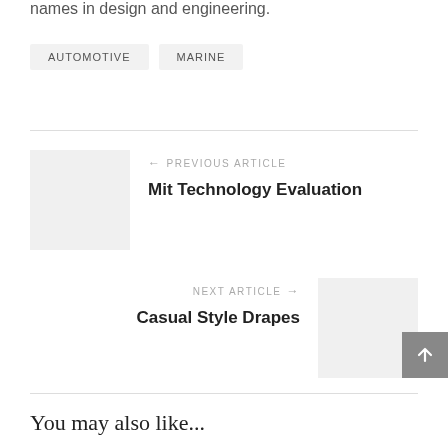names in design and engineering.
AUTOMOTIVE
MARINE
← PREVIOUS ARTICLE
Mit Technology Evaluation
NEXT ARTICLE →
Casual Style Drapes
You may also like...